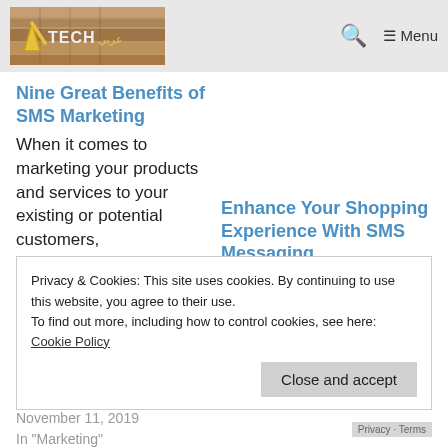Tech [logo] | Search | ≡ Menu
Nine Great Benefits of SMS Marketing
When it comes to marketing your products and services to your existing or potential customers,
September 7, 2018
In "Tech News"
Enhance Your Shopping Experience With SMS Messaging
March 31, 2020
In "Articles"
Privacy & Cookies: This site uses cookies. By continuing to use this website, you agree to their use.
To find out more, including how to control cookies, see here:
Cookie Policy
November 11, 2019
In "Marketing"
Privacy · Terms